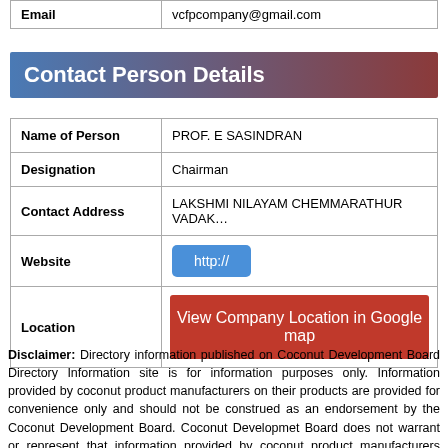| Email |  |
| --- | --- |
| Email | vcfpcompany@gmail.com |
Contact Person Details
| Field | Value |
| --- | --- |
| Name of Person | PROF. E SASINDRAN |
| Designation | Chairman |
| Contact Address | LAKSHMI NILAYAM CHEMMARATHUR VADAK... |
| Website | http:// |
| Location | View Company Location in Google map |
Disclaimer: Directory information published on Coconut Development Board Directory Information site is for information purposes only. Information provided by coconut product manufacturers on their products are provided for convenience only and should not be construed as an endorsement by the Coconut Development Board. Coconut Developmet Board does not warrant or represent that information provided by coconut product manufacturers contained on this site is accurate, current or complete. Users should exercise their own independent skill or judgement or seek professional advice before...